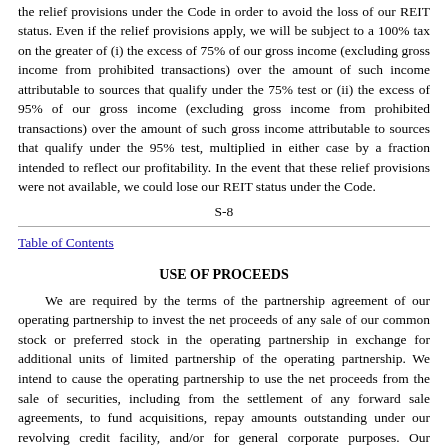the relief provisions under the Code in order to avoid the loss of our REIT status. Even if the relief provisions apply, we will be subject to a 100% tax on the greater of (i) the excess of 75% of our gross income (excluding gross income from prohibited transactions) over the amount of such income attributable to sources that qualify under the 75% test or (ii) the excess of 95% of our gross income (excluding gross income from prohibited transactions) over the amount of such gross income attributable to sources that qualify under the 95% test, multiplied in either case by a fraction intended to reflect our profitability. In the event that these relief provisions were not available, we could lose our REIT status under the Code.
S-8
Table of Contents
USE OF PROCEEDS
We are required by the terms of the partnership agreement of our operating partnership to invest the net proceeds of any sale of our common stock or preferred stock in the operating partnership in exchange for additional units of limited partnership of the operating partnership. We intend to cause the operating partnership to use the net proceeds from the sale of securities, including from the settlement of any forward sale agreements, to fund acquisitions, repay amounts outstanding under our revolving credit facility, and/or for general corporate purposes. Our revolving credit facility bears interest at LIBOR plus a margin based on our credit rating (at June 14, 2021 the margin is 0.95%) and matures on March 10, 2023. Affiliates of each of Wells Fargo